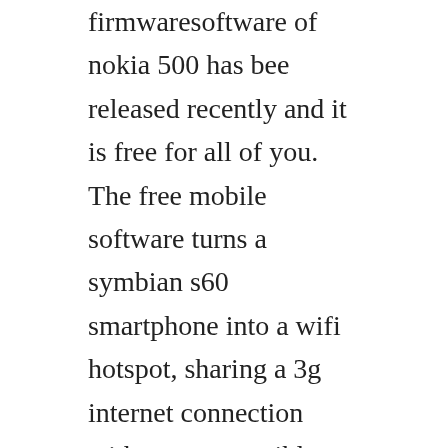firmwaresoftware of nokia 500 has bee released recently and it is free for all of you. The free mobile software turns a symbian s60 smartphone into a wifi hotspot, sharing a 3g internet connection with any compatible wlan device such as a laptop. Latest 2020 updates for nokia asha 500 dual sim softwares will be updated here soon.
Nokia 500 free downloads including nokia 500 ringtones, free 500 games, apps, themes, videos, wallpapers and more. Free games, apps, themes, sis for symbian s60 v3 v5 phones and anna, belle. The download link is